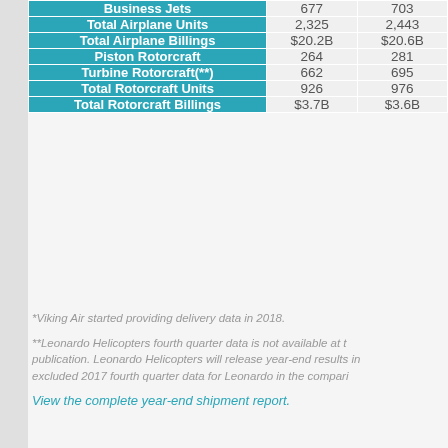|  | Col1 | Col2 |
| --- | --- | --- |
| Business Jets | 677 | 703 |
| Total Airplane Units | 2,325 | 2,443 |
| Total Airplane Billings | $20.2B | $20.6B |
| Piston Rotorcraft | 264 | 281 |
| Turbine Rotorcraft(**) | 662 | 695 |
| Total Rotorcraft Units | 926 | 976 |
| Total Rotorcraft Billings | $3.7B | $3.6B |
*Viking Air started providing delivery data in 2018.
**Leonardo Helicopters fourth quarter data is not available at the time of publication. Leonardo Helicopters will release year-end results in and has excluded 2017 fourth quarter data for Leonardo in the comparison.
View the complete year-end shipment report.